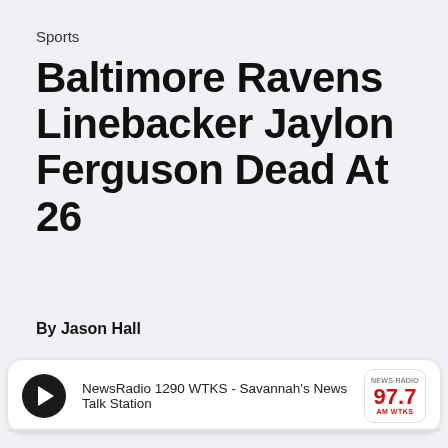Sports
Baltimore Ravens Linebacker Jaylon Ferguson Dead At 26
By Jason Hall
[Figure (other): Audio player widget for NewsRadio 1290 WTKS - Savannah's News Talk Station with play button and 97.7 logo]